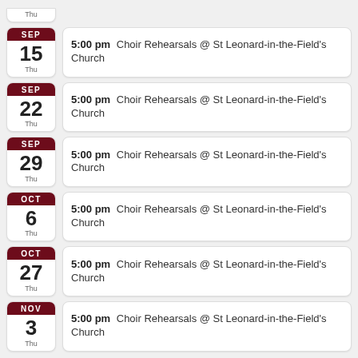Thu (partial, top cut off)
SEP 15 Thu — 5:00 pm Choir Rehearsals @ St Leonard-in-the-Field's Church
SEP 22 Thu — 5:00 pm Choir Rehearsals @ St Leonard-in-the-Field's Church
SEP 29 Thu — 5:00 pm Choir Rehearsals @ St Leonard-in-the-Field's Church
OCT 6 Thu — 5:00 pm Choir Rehearsals @ St Leonard-in-the-Field's Church
OCT 27 Thu — 5:00 pm Choir Rehearsals @ St Leonard-in-the-Field's Church
NOV 3 Thu — 5:00 pm Choir Rehearsals @ St Leonard-in-the-Field's Church